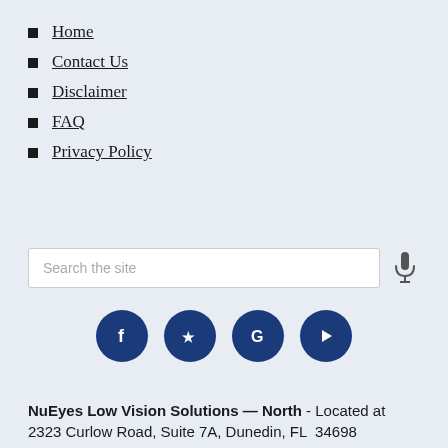Home
Contact Us
Disclaimer
FAQ
Privacy Policy
[Figure (other): Search box with microphone icon]
[Figure (other): Social media icons: Facebook, Yelp, Google, YouTube]
NuEyes Low Vision Solutions — North - Located at 2323 Curlow Road, Suite 7A, Dunedin, FL  34698